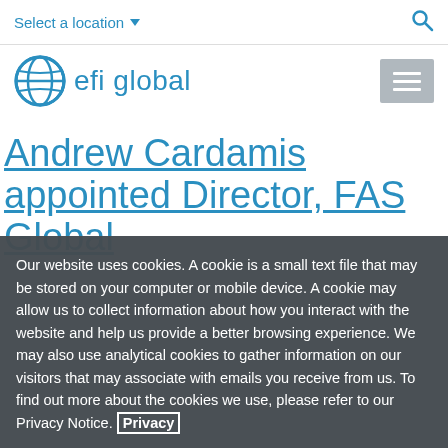Select a location
[Figure (logo): EFI Global logo with globe icon and text 'efi global']
Andrew Cardamis appointed Director, FAS Global
Our website uses cookies. A cookie is a small text file that may be stored on your computer or mobile device. A cookie may allow us to collect information about how you interact with the website and help us provide a better browsing experience. We may also use analytical cookies to gather information on our visitors that may associate with emails you receive from us. To find out more about the cookies we use, please refer to our Privacy Notice. Privacy